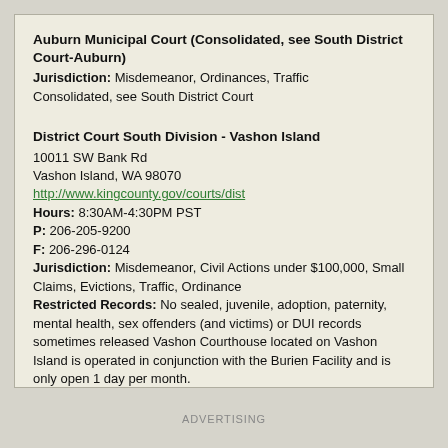Auburn Municipal Court (Consolidated, see South District Court-Auburn)
Jurisdiction: Misdemeanor, Ordinances, Traffic
Consolidated, see South District Court
District Court South Division - Vashon Island
10011 SW Bank Rd
Vashon Island, WA 98070
http://www.kingcounty.gov/courts/dist
Hours: 8:30AM-4:30PM PST
P: 206-205-9200
F: 206-296-0124
Jurisdiction: Misdemeanor, Civil Actions under $100,000, Small Claims, Evictions, Traffic, Ordinance
Restricted Records: No sealed, juvenile, adoption, paternity, mental health, sex offenders (and victims) or DUI records sometimes released Vashon Courthouse located on Vashon Island is operated in conjunction with the Burien Facility and is only open 1 day per month.
ADVERTISING